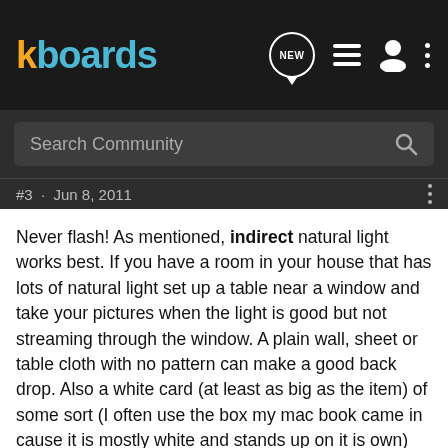kboards
Search Community
#3 · Jun 8, 2011
Never flash! As mentioned, indirect natural light works best. If you have a room in your house that has lots of natural light set up a table near a window and take your pictures when the light is good but not streaming through the window. A plain wall, sheet or table cloth with no pattern can make a good back drop. Also a white card (at least as big as the item) of some sort (I often use the box my mac book came in cause it is mostly white and stands up on it is own) place it on the shadow side and it will bounce light back into the picture.
I also create a montage of my items and post them on flickr, then I past the html code into the ad's main space and I do not have to pay for extra photos and it looks good. Here is a link to a recent item I sold as an example. You can also see the